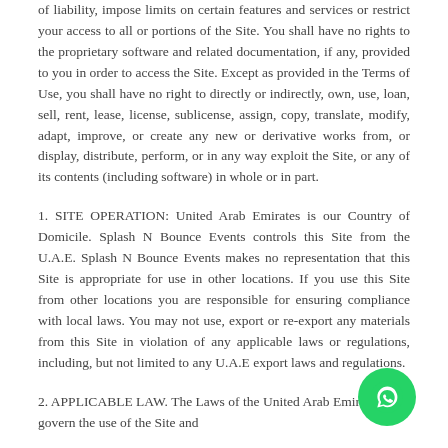of liability, impose limits on certain features and services or restrict your access to all or portions of the Site. You shall have no rights to the proprietary software and related documentation, if any, provided to you in order to access the Site. Except as provided in the Terms of Use, you shall have no right to directly or indirectly, own, use, loan, sell, rent, lease, license, sublicense, assign, copy, translate, modify, adapt, improve, or create any new or derivative works from, or display, distribute, perform, or in any way exploit the Site, or any of its contents (including software) in whole or in part.
1. SITE OPERATION: United Arab Emirates is our Country of Domicile. Splash N Bounce Events controls this Site from the U.A.E. Splash N Bounce Events makes no representation that this Site is appropriate for use in other locations. If you use this Site from other locations you are responsible for ensuring compliance with local laws. You may not use, export or re-export any materials from this Site in violation of any applicable laws or regulations, including, but not limited to any U.A.E export laws and regulations.
2. APPLICABLE LAW. The Laws of the United Arab Emirates shall govern the use of the Site and
[Figure (other): WhatsApp contact button - circular green button with WhatsApp logo icon]